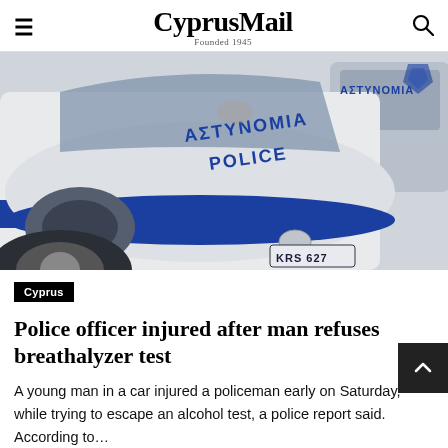CyprusMail — Founded 1945
[Figure (photo): Close-up of a white Cyprus police car with blue markings reading ΑΣΤΥΝΟΜΙΑ POLICE, license plate KRS 627, Mazda model, parked or stopped on pavement.]
Cyprus
Police officer injured after man refuses breathalyzer test
A young man in a car injured a policeman early on Saturday, while trying to escape an alcohol test, a police report said. According to…